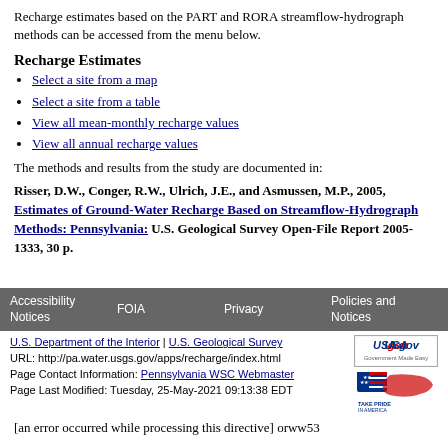Recharge estimates based on the PART and RORA streamflow-hydrograph methods can be accessed from the menu below.
Recharge Estimates
Select a site from a map
Select a site from a table
View all mean-monthly recharge values
View all annual recharge values
The methods and results from the study are documented in:
Risser, D.W., Conger, R.W., Ulrich, J.E., and Asmussen, M.P., 2005, Estimates of Ground-Water Recharge Based on Streamflow-Hydrograph Methods: Pennsylvania: U.S. Geological Survey Open-File Report 2005-1333, 30 p.
Accessibility Notices | FOIA | Privacy | Policies and Notices | U.S. Department of the Interior | U.S. Geological Survey | URL: http://pa.water.usgs.gov/apps/recharge/index.html | Page Contact Information: Pennsylvania WSC Webmaster | Page Last Modified: Tuesday, 25-May-2021 09:13:38 EDT
[an error occurred while processing this directive] orww53